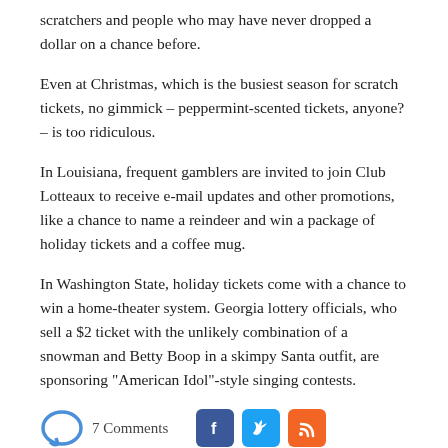scratchers and people who may have never dropped a dollar on a chance before.
Even at Christmas, which is the busiest season for scratch tickets, no gimmick – peppermint-scented tickets, anyone? – is too ridiculous.
In Louisiana, frequent gamblers are invited to join Club Lotteaux to receive e-mail updates and other promotions, like a chance to name a reindeer and win a package of holiday tickets and a coffee mug.
In Washington State, holiday tickets come with a chance to win a home-theater system. Georgia lottery officials, who sell a $2 ticket with the unlikely combination of a snowman and Betty Boop in a skimpy Santa outfit, are sponsoring "American Idol"-style singing contests.
7 Comments
Comments